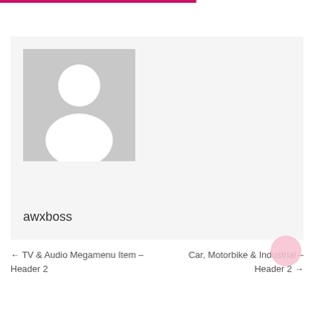[Figure (photo): User profile card with a grey placeholder avatar (silhouette of a person) and username 'awxboss' below it on a light grey background]
awxboss
← TV & Audio Megamenu Item – Header 2
Car, Motorbike & Industrial – Header 2 →